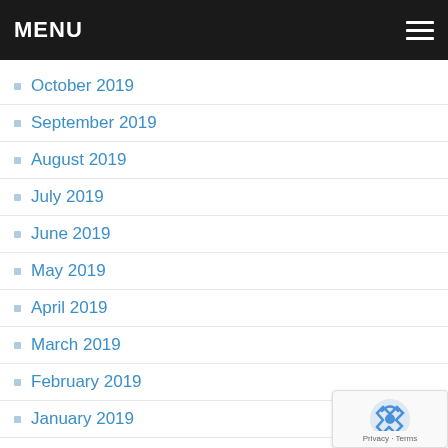MENU
October 2019
September 2019
August 2019
July 2019
June 2019
May 2019
April 2019
March 2019
February 2019
January 2019
December 2018
November 2018